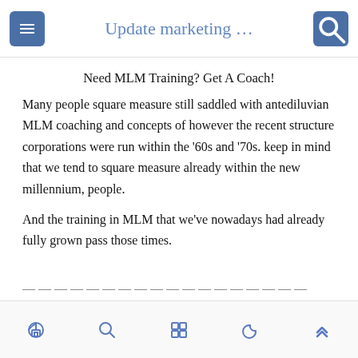Update marketing …
Need MLM Training? Get A Coach!
Many people square measure still saddled with antediluvian MLM coaching and concepts of however the recent structure corporations were run within the '60s and '70s. keep in mind that we tend to square measure already within the new millennium, people.
And the training in MLM that we've nowadays had already fully grown pass those times.